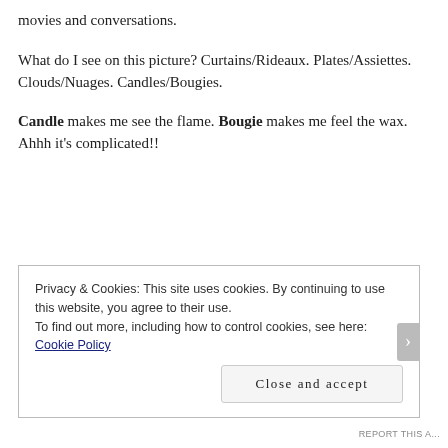movies and conversations.
What do I see on this picture? Curtains/Rideaux. Plates/Assiettes. Clouds/Nuages. Candles/Bougies.
Candle makes me see the flame. Bougie makes me feel the wax. Ahhh it’s complicated!!
Privacy & Cookies: This site uses cookies. By continuing to use this website, you agree to their use.
To find out more, including how to control cookies, see here: Cookie Policy
Close and accept